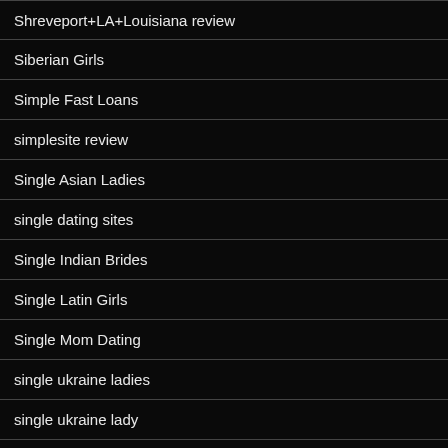Shreveport+LA+Louisiana review
Siberian Girls
Simple Fast Loans
simplesite review
Single Asian Ladies
single dating sites
Single Indian Brides
Single Latin Girls
Single Mom Dating
single ukraine ladies
single ukraine lady
Single Ukrainian Girls